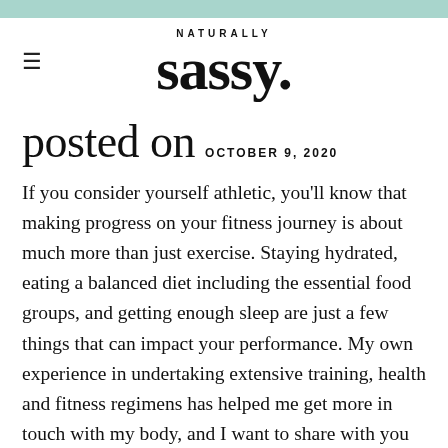NATURALLY sassy.
posted on OCTOBER 9, 2020
If you consider yourself athletic, you'll know that making progress on your fitness journey is about much more than just exercise. Staying hydrated, eating a balanced diet including the essential food groups, and getting enough sleep are just a few things that can impact your performance. My own experience in undertaking extensive training, health and fitness regimens has helped me get more in touch with my body, and I want to share with you